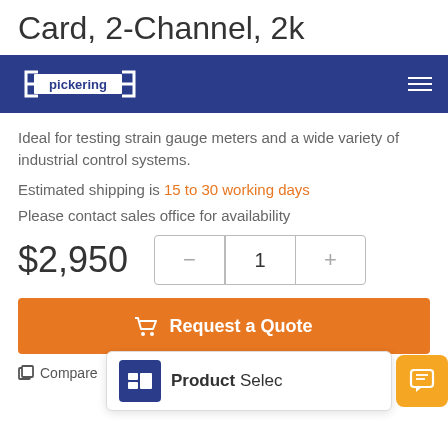Card, 2-Channel, 2k
[Figure (logo): Pickering logo in white on dark blue navigation bar with hamburger menu icon]
Ideal for testing strain gauge meters and a wide variety of industrial control systems.
Estimated shipping is 15 to 30 working days
Please contact sales office for availability
$2,950
Request a Quote
Compare
Product Selec